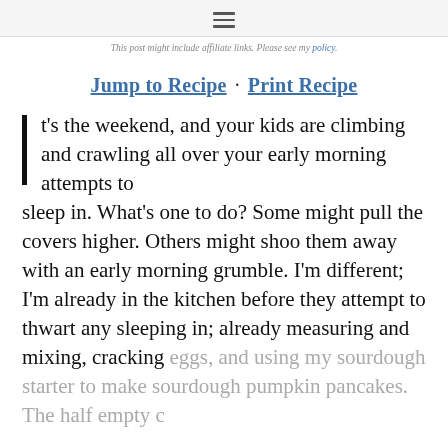This post might include affiliate links. Please see my policy.
Jump to Recipe · Print Recipe
It's the weekend, and your kids are climbing and crawling all over your early morning attempts to sleep in. What's one to do? Some might pull the covers higher. Others might shoo them away with an early morning grumble. I'm different; I'm already in the kitchen before they attempt to thwart any sleeping in; already measuring and mixing, cracking eggs, and using my sourdough starter to make sourdough pumpkin pancakes. The half empty c